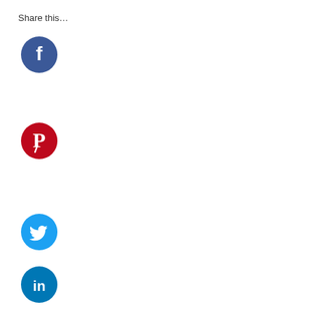Share this…
[Figure (logo): Facebook circular icon — dark blue circle with white lowercase 'f' in center]
[Figure (logo): Pinterest circular icon — red circle with white 'P' pin logo in center]
[Figure (logo): Twitter circular icon — light blue circle with white bird logo in center]
[Figure (logo): LinkedIn circular icon — dark blue circle with white 'in' text in center]